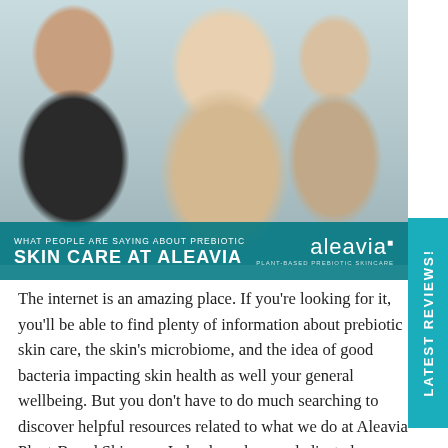[Figure (photo): Photo of three people in a professional setting: a woman with glasses on the left in dark clothing, a smiling blonde woman in the center, and a man with dark hair on the right viewed from behind.]
WHAT PEOPLE ARE SAYING ABOUT PREBIOTIC SKIN CARE AT ALEAVIA
The internet is an amazing place. If you're looking for it, you'll be able to find plenty of information about prebiotic skin care, the skin's microbiome, and the idea of good bacteria impacting skin health as well your general wellbeing. But you don't have to do much searching to discover helpful resources related to what we do at Aleavia Plant-Based Skincare. Indeed, we have a dedicated resource highlighting prebiotic skin care of our own. We encourage our readers and prospective customers who are interested in learning more about the topic at hand to investigate this page for all it's worth. In it, you'll learn